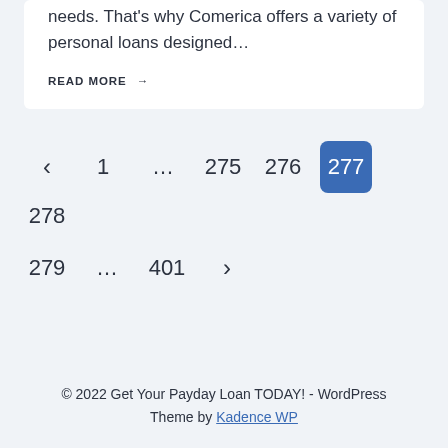needs. That's why Comerica offers a variety of personal loans designed…
READ MORE →
‹ 1 … 275 276 277 278 279 … 401 ›
© 2022 Get Your Payday Loan TODAY! - WordPress Theme by Kadence WP